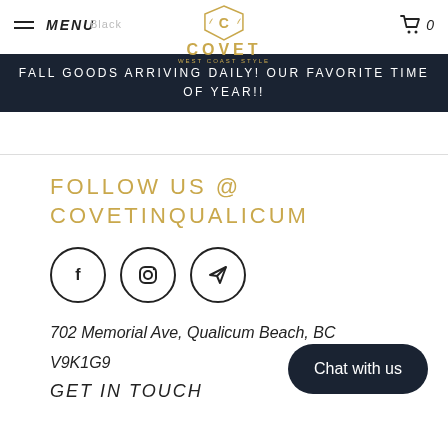MENU  COVET  0
FALL GOODS ARRIVING DAILY! OUR FAVORITE TIME OF YEAR!!
FOLLOW US @ COVETINQUALICUM
[Figure (illustration): Three social media icons in circles: Facebook (f), Instagram (camera), and a send/paper plane icon]
702 Memorial Ave, Qualicum Beach, BC V9K1G9
GET IN TOUCH
Chat with us